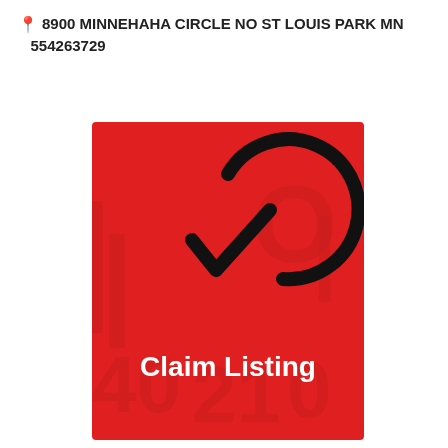8900 MINNEHAHA CIRCLE NO ST LOUIS PARK MN 554263729
[Figure (illustration): Red square banner with a circular checkmark icon and the text 'Claim Listing' in white bold text. Background has faint red watermark text.]